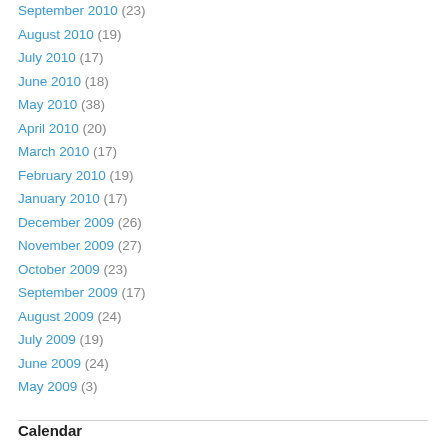September 2010 (23)
August 2010 (19)
July 2010 (17)
June 2010 (18)
May 2010 (38)
April 2010 (20)
March 2010 (17)
February 2010 (19)
January 2010 (17)
December 2009 (26)
November 2009 (27)
October 2009 (23)
September 2009 (17)
August 2009 (24)
July 2009 (19)
June 2009 (24)
May 2009 (3)
Calendar